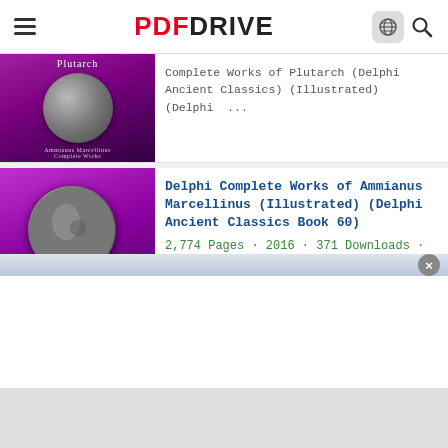PDF DRIVE
Complete Works of Plutarch (Delphi Ancient Classics) (Illustrated) (Delphi ...
Delphi Complete Works of Ammianus Marcellinus (Illustrated) (Delphi Ancient Classics Book 60)
2,774 Pages · 2016 · 371 Downloads · New!
Delphi Complete Works of Ammianus Marcellinus (Illustrated) (Delphi ...
The Choice: Embrace the Possible
359 Pages · 2017 · 116,241 Downloads
The_Choice_-_Edith_Eva_Eger.pdf The Choice ...